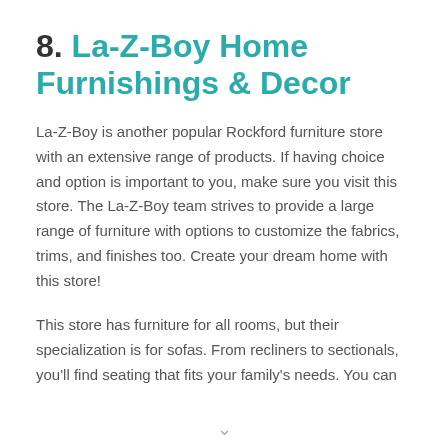8. La-Z-Boy Home Furnishings & Decor
La-Z-Boy is another popular Rockford furniture store with an extensive range of products. If having choice and option is important to you, make sure you visit this store. The La-Z-Boy team strives to provide a large range of furniture with options to customize the fabrics, trims, and finishes too. Create your dream home with this store!
This store has furniture for all rooms, but their specialization is for sofas. From recliners to sectionals, you'll find seating that fits your family's needs. You can